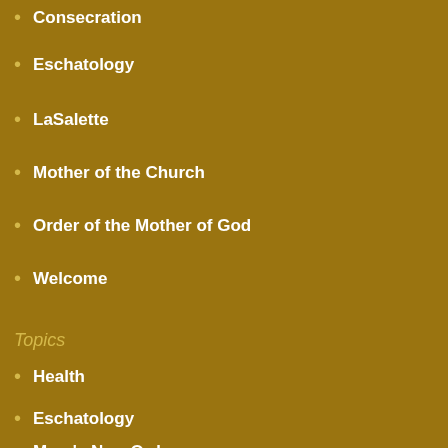Consecration
Eschatology
LaSalette
Mother of the Church
Order of the Mother of God
Welcome
Topics
Health
Eschatology
Mary's New Order
Vaccines